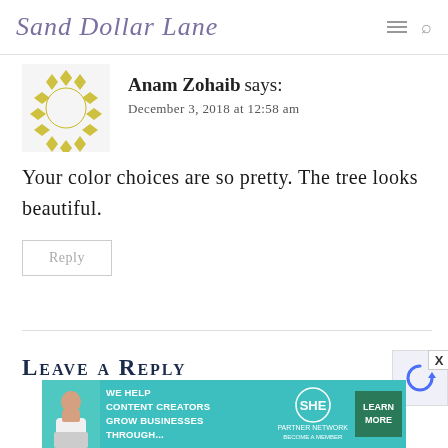Sand Dollar Lane
[Figure (logo): Circular decorative avatar with yellow/olive diamond pattern border (WordPress default avatar)]
Anam Zohaib says:
December 3, 2018 at 12:58 am
Your color choices are so pretty. The tree looks beautiful.
Reply
Leave a Reply
[Figure (infographic): SHE Media advertisement banner: 'We help content creators grow businesses through... SHE Partner Network - Become a Member - Learn More']